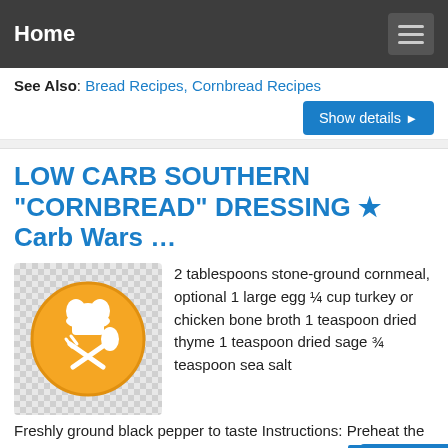Home
See Also: Bread Recipes, Cornbread Recipes
Show details ▶
LOW CARB SOUTHERN "CORNBREAD" DRESSING ★ Carb Wars …
[Figure (illustration): Orange circular icon with white chef hat and crossed fork and spoon on a checkered background]
2 tablespoons stone-ground cornmeal, optional 1 large egg ¼ cup turkey or chicken bone broth 1 teaspoon dried thyme 1 teaspoon dried sage ¾ teaspoon sea salt Freshly ground black pepper to taste Instructions: Preheat the oven to 375 F. Chop some of the feathery fennel fronds to add as one of the herbs or to use as a garnish if you like.